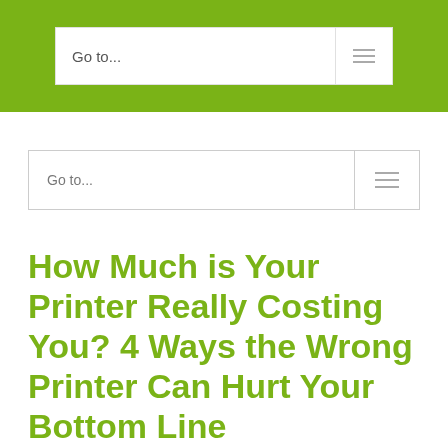Go to...
Go to...
How Much is Your Printer Really Costing You? 4 Ways the Wrong Printer Can Hurt Your Bottom Line